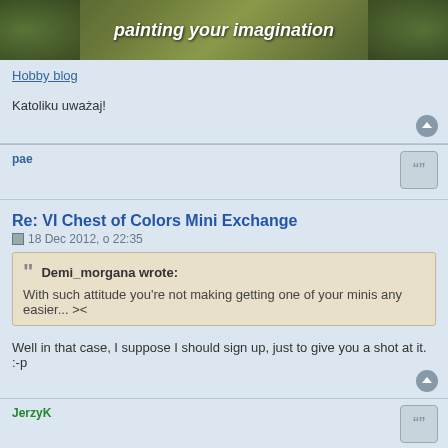[Figure (illustration): Banner image with illustrated figures and text 'painting your imagination' in italic white bold on green/nature background]
Hobby blog
Katoliku uważaj!
pae
Re: VI Chest of Colors Mini Exchange
18 Dec 2012, o 22:35
Demi_morgana wrote:
With such attitude you're not making getting one of your minis any easier... ><
Well in that case, I suppose I should sign up, just to give you a shot at it. :-p
JerzyK
Re: VI Chest of Colors Mini Exchange